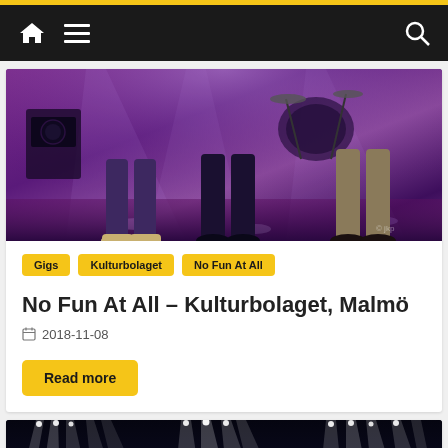Navigation bar with home icon, menu icon, and search icon
[Figure (photo): Concert photo showing legs of band members on a purple/violet lit stage with instruments in background]
Gigs
Kulturbolaget
No Fun At All
No Fun At All – Kulturbolaget, Malmö
2018-11-08
Read more
[Figure (photo): Concert photo showing bright white stage lights/beams radiating from above against dark background]